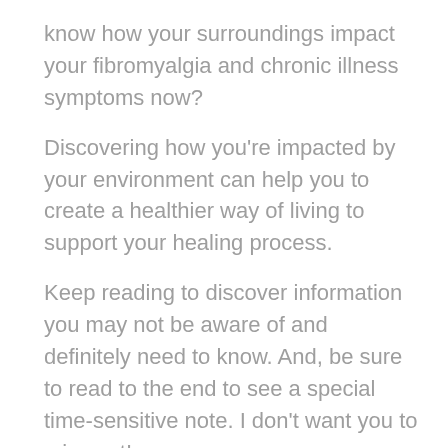know how your surroundings impact your fibromyalgia and chronic illness symptoms now?
Discovering how you're impacted by your environment can help you to create a healthier way of living to support your healing process.
Keep reading to discover information you may not be aware of and definitely need to know. And, be sure to read to the end to see a special time-sensitive note. I don't want you to miss out!
Dangers in Your (not) Healthy Surroundings